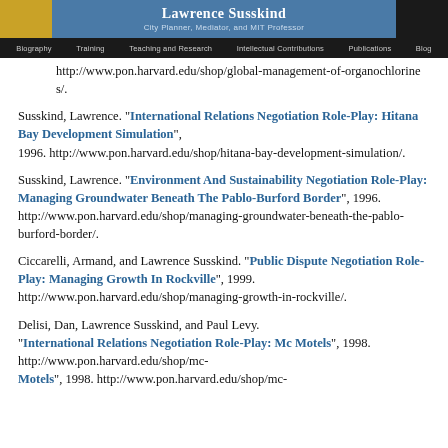Lawrence Susskind — City Planner, Mediator, and MIT Professor — Biography, Training, Teaching and Research, Intellectual Contributions, Publications, Blog
http://www.pon.harvard.edu/shop/global-management-of-organochlorines/.
Susskind, Lawrence. "International Relations Negotiation Role-Play: Hitana Bay Development Simulation", 1996. http://www.pon.harvard.edu/shop/hitana-bay-development-simulation/.
Susskind, Lawrence. "Environment And Sustainability Negotiation Role-Play: Managing Groundwater Beneath The Pablo-Burford Border", 1996. http://www.pon.harvard.edu/shop/managing-groundwater-beneath-the-pablo-burford-border/.
Ciccarelli, Armand, and Lawrence Susskind. "Public Dispute Negotiation Role-Play: Managing Growth In Rockville", 1999. http://www.pon.harvard.edu/shop/managing-growth-in-rockville/.
Delisi, Dan, Lawrence Susskind, and Paul Levy. "International Relations Negotiation Role-Play: Mc Motels", 1998. http://www.pon.harvard.edu/shop/mc-motels/.